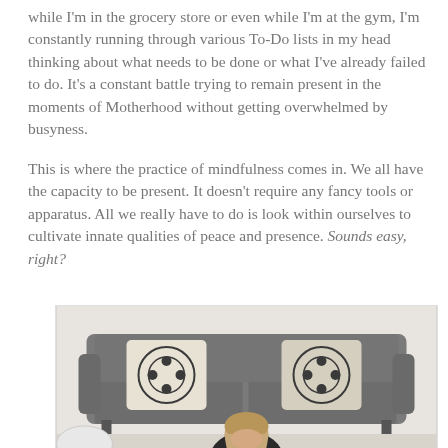while I'm in the grocery store or even while I'm at the gym, I'm constantly running through various To-Do lists in my head thinking about what needs to be done or what I've already failed to do. It's a constant battle trying to remain present in the moments of Motherhood without getting overwhelmed by busyness.
This is where the practice of mindfulness comes in. We all have the capacity to be present. It doesn't require any fancy tools or apparatus. All we really have to do is look within ourselves to cultivate innate qualities of peace and presence. Sounds easy, right?
[Figure (photo): A woman with blonde hair sits on the floor with her head down, in front of a dark grey sofa with decorative black and white patterned pillows. A white tufted ottoman is visible on the left.]